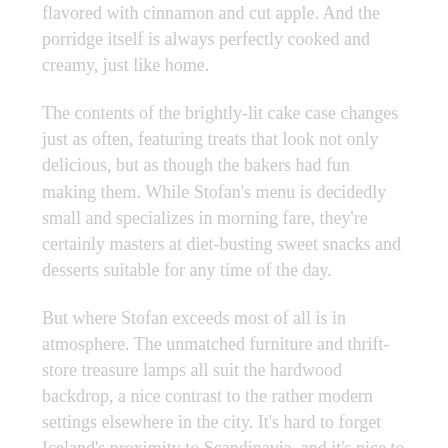flavored with cinnamon and cut apple. And the porridge itself is always perfectly cooked and creamy, just like home.
The contents of the brightly-lit cake case changes just as often, featuring treats that look not only delicious, but as though the bakers had fun making them. While Stofan's menu is decidedly small and specializes in morning fare, they're certainly masters at diet-busting sweet snacks and desserts suitable for any time of the day.
But where Stofan exceeds most of all is in atmosphere. The unmatched furniture and thrift-store treasure lamps all suit the hardwood backdrop, a nice contrast to the rather modern settings elsewhere in the city. It's hard to forget Iceland's proximity to Scandinavia, and it's nice to occasionally sit on an bit of aged furniture.
Time spent in Reykjavik is often soundtracked by countless accents and languages, whereas the lilting sounds of